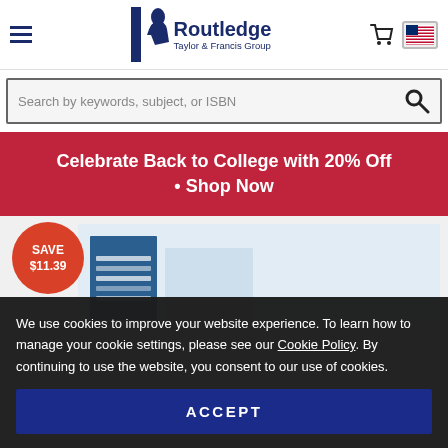[Figure (logo): Routledge Taylor & Francis Group logo with stylized R and text]
Search by keywords, subject, or ISBN
Celebrate Back to College with 20% Off • Shop Now
[Figure (illustration): Book product image with SAVE $11.39 badge]
We use cookies to improve your website experience. To learn how to manage your cookie settings, please see our Cookie Policy. By continuing to use the website, you consent to our use of cookies.
ACCEPT